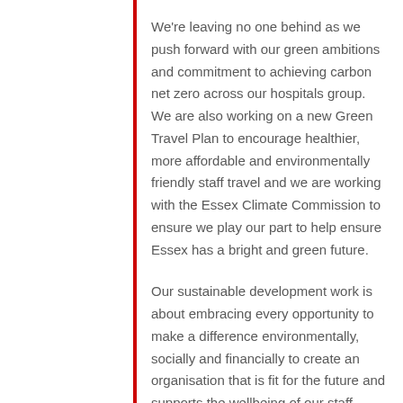We're leaving no one behind as we push forward with our green ambitions and commitment to achieving carbon net zero across our hospitals group. We are also working on a new Green Travel Plan to encourage healthier, more affordable and environmentally friendly staff travel and we are working with the Essex Climate Commission to ensure we play our part to help ensure Essex has a bright and green future.
Our sustainable development work is about embracing every opportunity to make a difference environmentally, socially and financially to create an organisation that is fit for the future and supports the wellbeing of our staff, patients and the wider community."